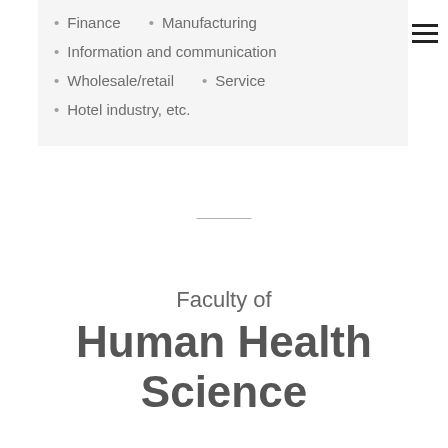Finance    • Manufacturing
Information and communication
Wholesale/retail    • Service
Hotel industry, etc.
Faculty of Human Health Science